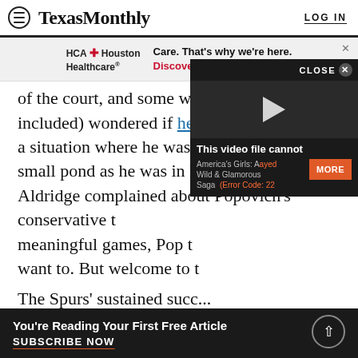TexasMonthly  LOG IN
[Figure (other): HCA Houston Healthcare advertisement banner: 'Care. That's why we're here. Discover more →']
of the court, and some writers (this one included) wondered if he seemed unhappy in a situation where he wasn't a big fish in a small pond as he was in Portland. When Aldridge complained about Popovich's conservative tactic of sitting his meaningless games, Pop t... want to. But welcome to t...
[Figure (screenshot): Video overlay showing error: 'This video file cannot' with title 'America's Girls: A Wild & Glamorous Saga' and error code 22. Has CLOSE button and MORE button.]
The Spurs' sustained succ... is, doesn't hinge merely on a grouping of extremely
You're Reading Your First Free Article  SUBSCRIBE NOW